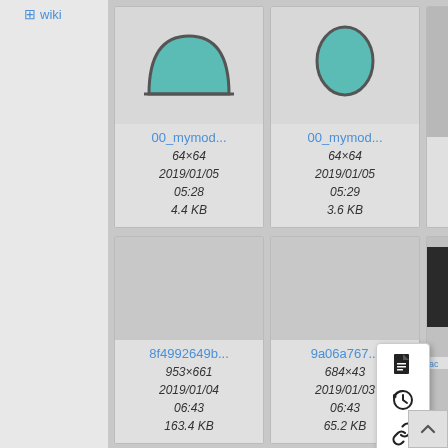+ wiki
[Figure (screenshot): File thumbnail card: 00_mymod... icon showing teal dome/hill shape, 64×64, 2019/01/05 05:28, 4.4 KB]
[Figure (screenshot): File thumbnail card: 00_mymod... icon showing teal oval/ellipse, 64×64, 2019/01/05 05:29, 3.6 KB]
[Figure (screenshot): File thumbnail card partial: 5f... partially visible on right edge]
[Figure (screenshot): File thumbnail card: 8f4992649b... large screenshot, 953×661, 2019/01/04 06:43, 163.4 KB]
[Figure (screenshot): File thumbnail card: 9a06a767... 684×43..., 2019/01/03 06:43, 65.2 KB with context menu showing]
[Figure (screenshot): File thumbnail partial: ad... partially visible on right edge, with dark thumbnail]